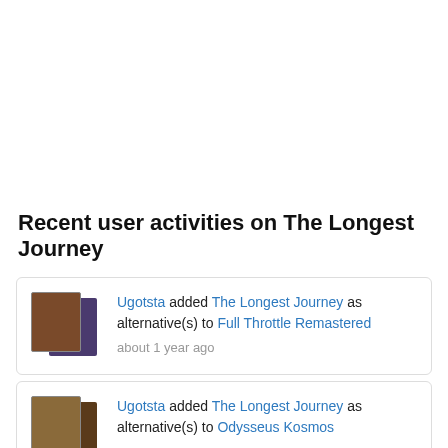Recent user activities on The Longest Journey
Ugotsta added The Longest Journey as alternative(s) to Full Throttle Remastered about 1 year ago
Ugotsta added The Longest Journey as alternative(s) to Odysseus Kosmos